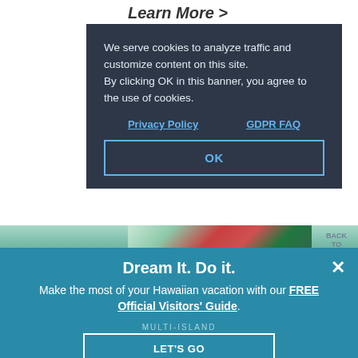Learn More >
We serve cookies to analyze traffic and customize content on this site. By clicking OK in this banner, you agree to the use of cookies.
Privacy Policy
GDPR FAQ
OK
[Figure (photo): Tropical flowers, red anthurium and green foliage]
BACK TO
Dream It. Do it.
Make the most of your Hawaiian vacation with our FREE Official Visitors' Guide.
MULTI-ISLAND LET'S GO